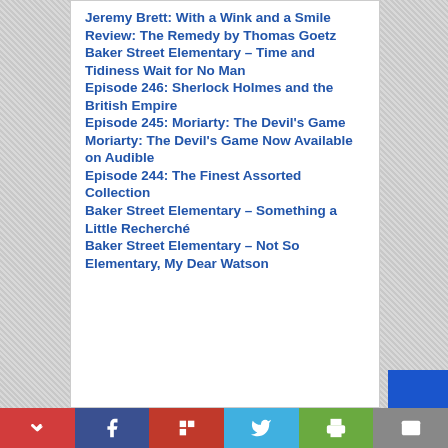Jeremy Brett: With a Wink and a Smile
Review: The Remedy by Thomas Goetz
Baker Street Elementary – Time and Tidiness Wait for No Man
Episode 246: Sherlock Holmes and the British Empire
Episode 245: Moriarty: The Devil's Game
Moriarty: The Devil's Game Now Available on Audible
Episode 244: The Finest Assorted Collection
Baker Street Elementary – Something a Little Recherché
Baker Street Elementary – Not So Elementary, My Dear Watson